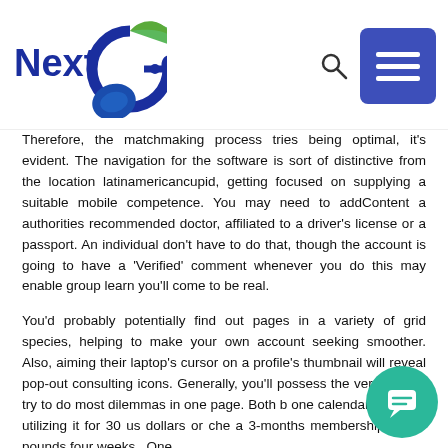[Figure (logo): NextGen logo with circular arrow and green/blue swoosh design]
Therefore, the matchmaking process tries being optimal, it's evident. The navigation for the software is sort of distinctive from the location latinamericancupid, getting focused on supplying a suitable mobile competence. You may need to addContent a authorities recommended doctor, affiliated to a driver's license or a passport. An individual don't have to do that, though the account is going to have a 'Verified' comment whenever you do this may enable group learn you'll come to be real.
You'd probably potentially find out pages in a variety of grid species, helping to make your own account seeking smoother. Also, aiming their laptop's cursor on a profile's thumbnail will reveal pop-out consulting icons. Generally, you'll possess the versatility to try to do most dilemmas in one page. Both b one calendar month of utilizing it for 30 us dollars or che a 3-months membership for 20 pounds four weeks . One